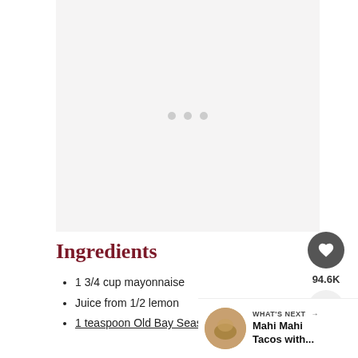[Figure (other): Loading image placeholder with three gray dots on a light gray background]
Ingredients
1 3/4 cup mayonnaise
Juice from 1/2 lemon
1 teaspoon Old Bay Seasoning
[Figure (other): WHAT'S NEXT arrow label with Mahi Mahi Tacos with... thumbnail and text in sidebar]